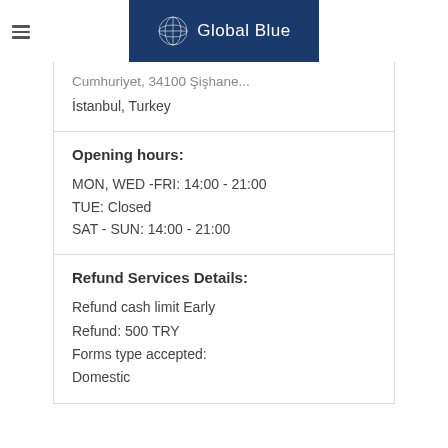Global Blue
Cumhuriyet, 34100 Şişhane, İstanbul, Turkey
Opening hours:
MON, WED -FRI: 14:00 - 21:00
TUE: Closed
SAT - SUN: 14:00 - 21:00
Refund Services Details:
Refund cash limit Early Refund: 500 TRY
Forms type accepted: Domestic